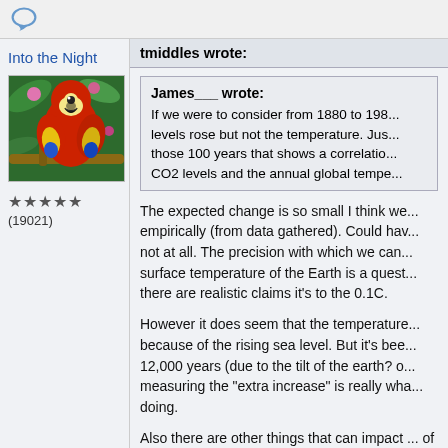[Figure (illustration): Speech bubble / comment icon in top bar]
Into the Night
[Figure (photo): Photo of a red and yellow scarlet macaw parrot on a branch with colorful flowers in background]
★★★★★ (19021)
tmiddles wrote:
James___ wrote:
If we were to consider from 1880 to 198... levels rose but not the temperature. Jus... those 100 years that shows a correlatio... CO2 levels and the annual global tempe...
The expected change is so small I think we... empirically (from data gathered). Could hav... not at all. The precision with which we can... surface temperature of the Earth is a quest... there are realistic claims it's to the 0.1C.

However it does seem that the temperature... because of the rising sea level. But it's bee... 12,000 years (due to the tilt of the earth? o... measuring the "extra increase" is really wha... doing.

Also there are other things that can impact ... of course. Notice that water vapor is a HUG... varies from 0-4%, it's not a steady 2.5%, I a... that.